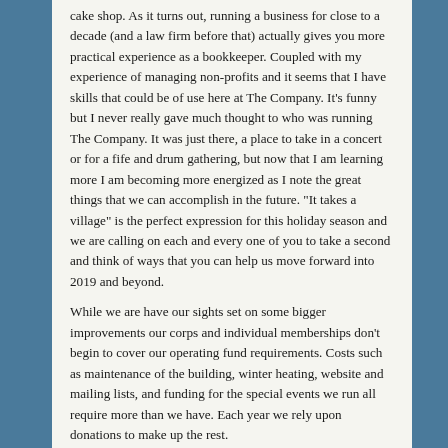cake shop. As it turns out, running a business for close to a decade (and a law firm before that) actually gives you more practical experience as a bookkeeper. Coupled with my experience of managing non-profits and it seems that I have skills that could be of use here at The Company. It's funny but I never really gave much thought to who was running The Company. It was just there, a place to take in a concert or for a fife and drum gathering, but now that I am learning more I am becoming more energized as I note the great things that we can accomplish in the future. "It takes a village" is the perfect expression for this holiday season and we are calling on each and every one of you to take a second and think of ways that you can help us move forward into 2019 and beyond.
While we are have our sights set on some bigger improvements our corps and individual memberships don't begin to cover our operating fund requirements. Costs such as maintenance of the building, winter heating, website and mailing lists, and funding for the special events we run all require more than we have. Each year we rely upon donations to make up the rest.
So, where do you fit in? There are many ways! We love your